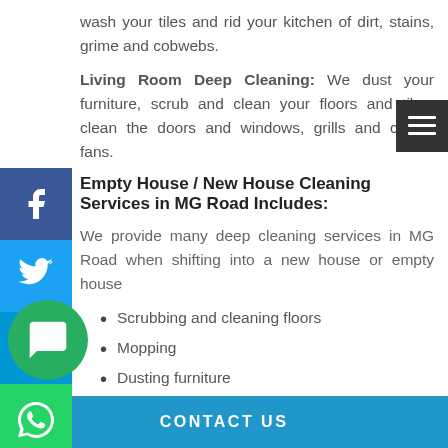wash your tiles and rid your kitchen of dirt, stains, grime and cobwebs.
Living Room Deep Cleaning: We dust your furniture, scrub and clean your floors and tiles, clean the doors and windows, grills and ceiling fans.
Empty House / New House Cleaning Services in MG Road Includes:
We provide many deep cleaning services in MG Road when shifting into a new house or empty house
Scrubbing and cleaning floors
Mopping
Dusting furniture
Cleaning stains
CONTACT US